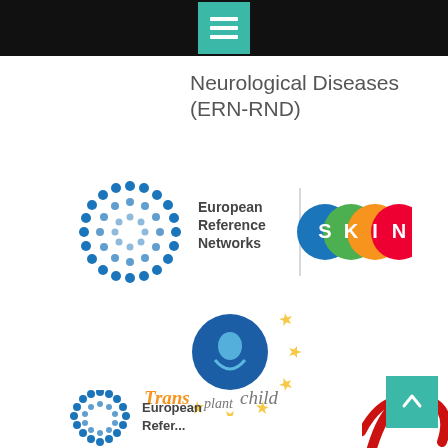[Figure (logo): Hamburger menu icon: teal square with three white horizontal bars, on black navigation bar]
Neurological Diseases (ERN-RND)
[Figure (logo): European Reference Networks ERN SKIN logo: blue dot-circle EU emblem with 'European Reference Networks' text, vertical divider, and SKIN colorful logo]
[Figure (logo): TransplantChild logo: blue circular emblem with figure and stars, orange and gray 'Transplantchild' text below]
[Figure (logo): European Reference Networks partial logo at bottom (blue dot-circle emblem with partial text 'European Refer...')]
[Figure (logo): Partial red swirling logo visible at bottom right corner]
[Figure (logo): Scroll-to-top button: teal square with white upward arrow, bottom right corner]